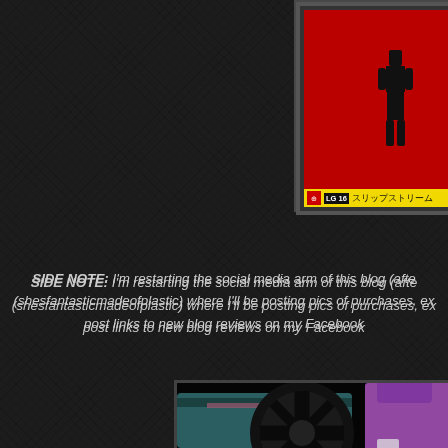[Figure (photo): Partial view of a Transformers LG-16 Slipstream toy box art on red background with yellow label bar showing Japanese text 'スリップストリーム']
SIDE NOTE: I'm restarting the social media arm of this blog (afte (shesfantasticmadeofplastic) where I'll be posting pics of purchases, ex post links to new blog reviews on my Facebook
[Figure (photo): Photo of a Transformers Slipstream figure (pink/purple) posed next to what appears to be a teal/dark cannon or vehicle accessory with a large wheel, against a black background]